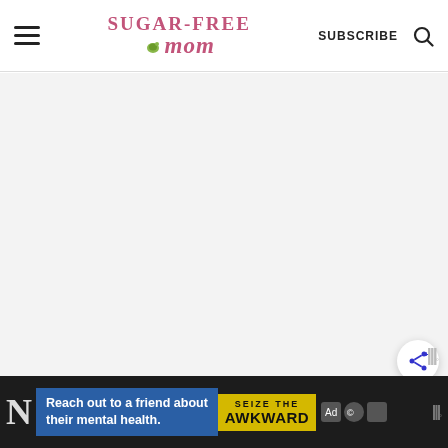Sugar-Free Mom | SUBSCRIBE
[Figure (screenshot): Blank/loading content area below the Sugar-Free Mom website header, light gray background]
[Figure (infographic): Share button (circular white button with share icon) floating on the right side]
[Figure (logo): Woo logo watermark, gray text, bottom right area]
[Figure (infographic): Advertisement banner at bottom: blue block reading 'Reach out to a friend about their mental health.' next to yellow 'SEIZE THE AWKWARD' badge with small icons, Woo logo on right, dark background]